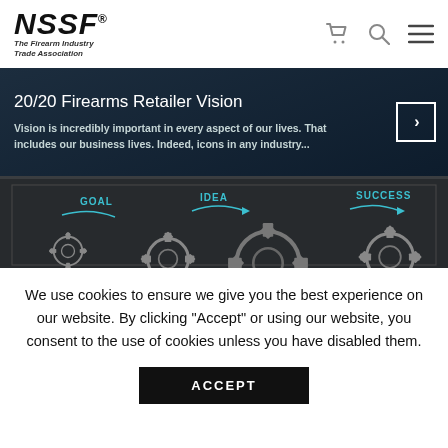[Figure (logo): NSSF logo - The Firearm Industry Trade Association with shopping cart, search, and menu icons]
20/20 Firearms Retailer Vision
Vision is incredibly important in every aspect of our lives. That includes our business lives. Indeed, icons in any industry...
[Figure (illustration): Dark background illustration showing gears with labels GOAL, IDEA, and SUCCESS with teal arrows]
We use cookies to ensure we give you the best experience on our website. By clicking "Accept" or using our website, you consent to the use of cookies unless you have disabled them.